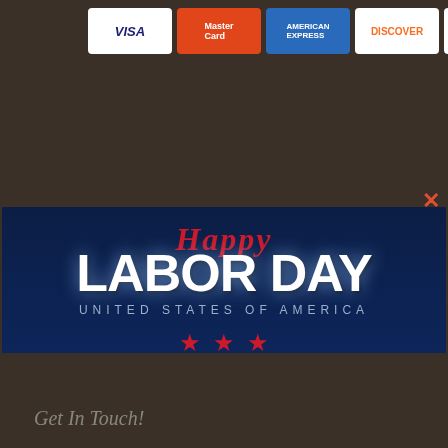[Figure (screenshot): Payment method logos: Visa, MasterCard, American Express, Discover, Apple Pay shown as white cards on dark background]
[Figure (illustration): Happy Labor Day promotional modal on dark navy blue background. Shows 'Happy' in red cursive script above 'LABOR DAY' in large white bold text, 'UNITED STATES OF AMERICA' in spaced gray letters, three red stars, and closure notice text]
WE WILL BE CLOSED IN OBSERVANCE OF THE HOLIDAY ON SATURDAY, SUNDAY AND MONDAY TO CELEBRATE THE HOLIDAY.
Get In Touch!